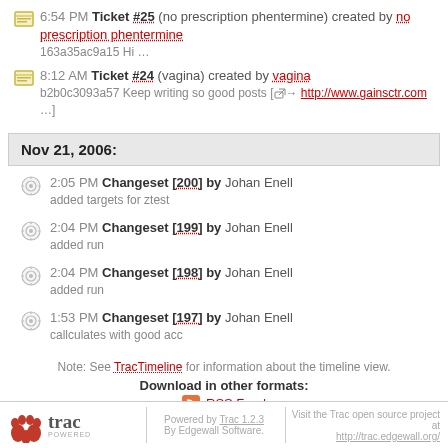6:54 PM Ticket #25 (no prescription phentermine) created by no prescription phentermine
163a35ac9a15 Hi ...
8:12 AM Ticket #24 (vagina) created by vagina
b2b0c3093a57 Keep writing so good posts [→ http://www.gainsctr.com ...
Nov 21, 2006:
2:05 PM Changeset [200] by Johan Enell
added targets for ztest
2:04 PM Changeset [199] by Johan Enell
added run
2:04 PM Changeset [198] by Johan Enell
added run
1:53 PM Changeset [197] by Johan Enell
callculates with good acc
Note: See TracTimeline for information about the timeline view.
Download in other formats:
RSS Feed
trac POWERED — Powered by Trac 1.2.3 By Edgewall Software. — Visit the Trac open source project at http://trac.edgewall.org/